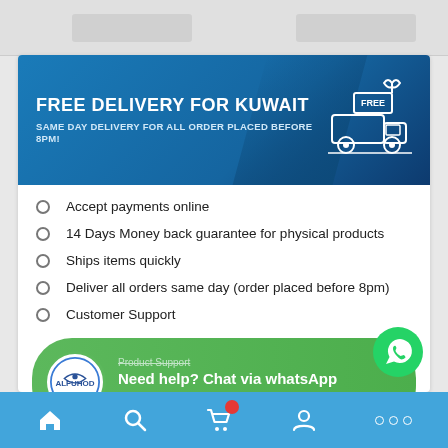[Figure (illustration): Free delivery banner for Kuwait with truck icon. Blue gradient background. Title: FREE DELIVERY FOR KUWAIT. Subtitle: SAME DAY DELIVERY FOR ALL ORDER PLACED BEFORE 8PM!]
Accept payments online
14 Days Money back guarantee for physical products
Ships items quickly
Deliver all orders same day (order placed before 8pm)
Customer Support
[Figure (infographic): WhatsApp support banner. Green rounded pill shape with Alfuhod logo circle. Text: Product Support, Need help? Chat via whatsApp, I'm Online, 11 am to 11pm. WhatsApp green icon top right.]
Navigation bar with home, search, cart (red badge), account, and dots icons on blue background.